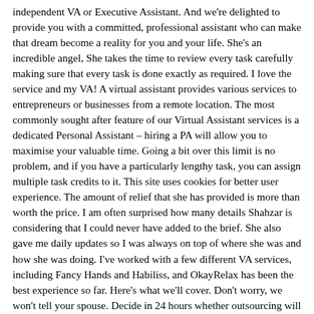independent VA or Executive Assistant. And we're delighted to provide you with a committed, professional assistant who can make that dream become a reality for you and your life. She's an incredible angel, She takes the time to review every task carefully making sure that every task is done exactly as required. I love the service and my VA! A virtual assistant provides various services to entrepreneurs or businesses from a remote location. The most commonly sought after feature of our Virtual Assistant services is a dedicated Personal Assistant – hiring a PA will allow you to maximise your valuable time. Going a bit over this limit is no problem, and if you have a particularly lengthy task, you can assign multiple task credits to it. This site uses cookies for better user experience. The amount of relief that she has provided is more than worth the price. I am often surprised how many details Shahzar is considering that I could never have added to the brief. She also gave me daily updates so I was always on top of where she was and how she was doing. I've worked with a few different VA services, including Fancy Hands and Habiliss, and OkayRelax has been the best experience so far. Here's what we'll cover. Don't worry, we won't tell your spouse. Decide in 24 hours whether outsourcing will work for you. I have been working with Mohammed at Okay Relax for 2 months now, he has been a pleasure. No need to stress over the time wasted. From appointment setting, to travel arrangements, to research, virtual assistants tackle a wide variety of administrative tasks. My VA handly deneted a right band efficing the Virtual assistant is